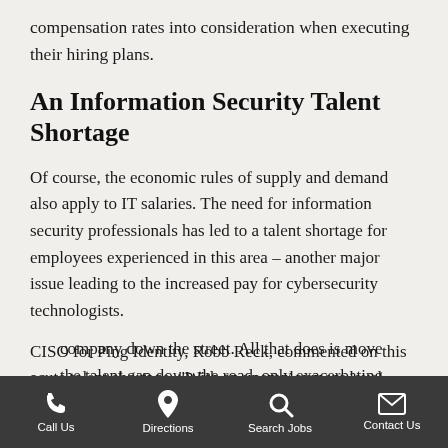compensation rates into consideration when executing their hiring plans.
An Information Security Talent Shortage
Of course, the economic rules of supply and demand also apply to IT salaries. The need for information security professionals has led to a talent shortage for employees experienced in this area – another major issue leading to the increased pay for cybersecurity technologists.
CISO for Ping Identity, Robb Reck, commented on this acute talent shortage. “With an unemployment level hovering around 0 percent, hiring experienced security professionals generally means poaching talent from the company down the street. All that does is move the talent gap down the road, only exacerbating the issue of a talent
Call Us  Directions  Search Jobs  Contact Us